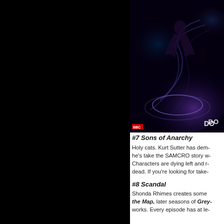[Figure (photo): Dark sci-fi or fantasy themed promotional image, appears to be a TV show poster with a person and swirling dark background, with partial text 'DO' visible and a BBC logo]
#7 Sons of Anarchy
Holy cats. Kurt Sutter has dem- he's take the SAMCRO story w- Characters are dying left and r- dead. If you're looking for take-
#8 Scandal
Shonda Rhimes creates some the Map, later seasons of Grey- works. Every episode has at le-